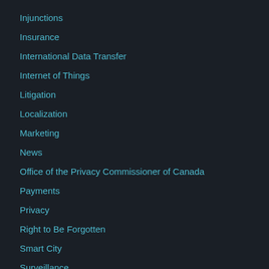Injunctions
Insurance
International Data Transfer
Internet of Things
Litigation
Localization
Marketing
News
Office of the Privacy Commissioner of Canada
Payments
Privacy
Right to Be Forgotten
Smart City
Surveillance